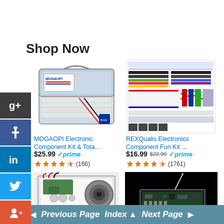Shop Now
[Figure (photo): MOGAOPI Electronic Component Kit in a clear plastic storage case with compartments]
MOGAOPI Electronic Component Kit & Tota…
$25.99 ✓prime ★★★★½ (166)
[Figure (photo): REXQualis Electronics Component Fun Kit with various components including breadboard, wires, LEDs]
REXQualis Electronics Component Fun Kit ...
$16.99 $22.99 ✓prime ★★★★½ (1761)
[Figure (photo): Electronic kit assembled in clear acrylic case with speaker and components]
[Figure (photo): Electronic device in clear acrylic case with antenna on dark background]
◄ Previous Page   Index ▲   Next Page ►